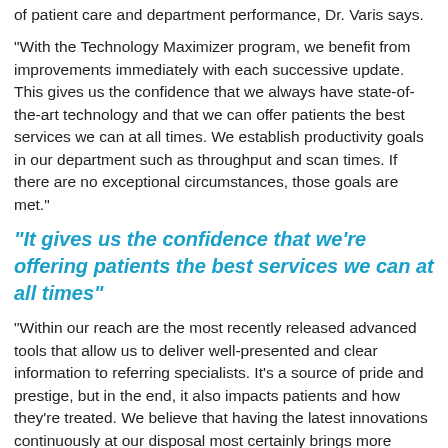of patient care and department performance, Dr. Varis says.
“With the Technology Maximizer program, we benefit from improvements immediately with each successive update. This gives us the confidence that we always have state-of-the-art technology and that we can offer patients the best services we can at all times. We establish productivity goals in our department such as throughput and scan times. If there are no exceptional circumstances, those goals are met.”
“It gives us the confidence that we’re offering patients the best services we can at all times”
“Within our reach are the most recently released advanced tools that allow us to deliver well-presented and clear information to referring specialists. It’s a source of pride and prestige, but in the end, it also impacts patients and how they're treated. We believe that having the latest innovations continuously at our disposal most certainly brings more patients to the hospital.”
“By streamlining the upgrade planning and budgeting process